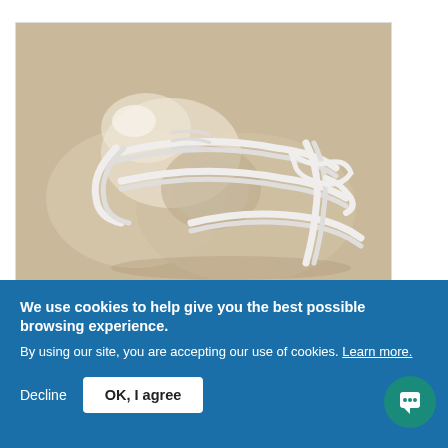[Figure (photo): A translucent glass or crystal object resembling a cocoon shape, wrapped with white rope/cord in a decorative pattern, placed on a beige/tan surface.]
Cocoon
We use cookies to help give you the best possible browsing experience.
By using our site, you are accepting our use of cookies. Learn more.
Decline
OK, I agree